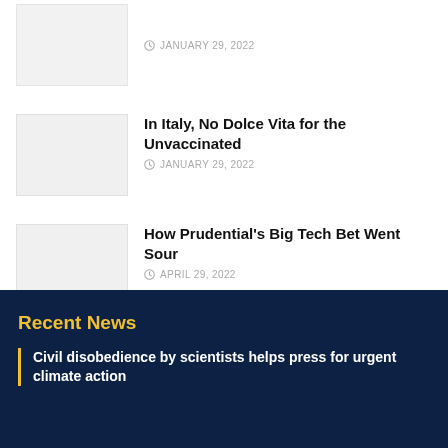JANUARY 29, 2022
In Italy, No Dolce Vita for the Unvaccinated — JANUARY 29, 2022
How Prudential's Big Tech Bet Went Sour — APRIL 29, 2022
Adam Jarchow Has Never Prosecuted A Criminal Case — JANUARY 27, 2022
Recent News
Civil disobedience by scientists helps press for urgent climate action